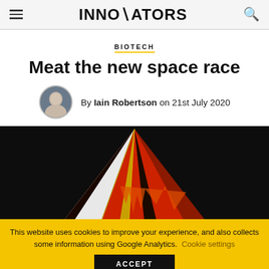INNOVATORS
BIOTECH
Meat the new space race
By Iain Robertson on 21st July 2020
[Figure (photo): Rocket or spacecraft nose cone with red, black, gold geometric design on dark background]
This website uses cookies to improve your experience, and also collects some information using Google Analytics. Cookie settings ACCEPT